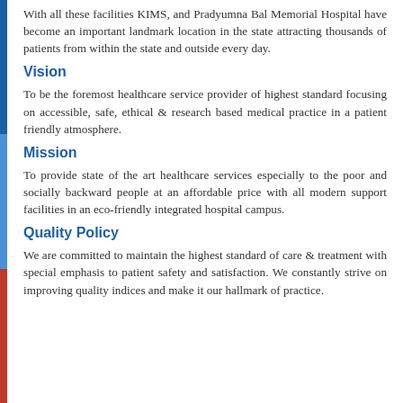With all these facilities KIMS, and Pradyumna Bal Memorial Hospital have become an important landmark location in the state attracting thousands of patients from within the state and outside every day.
Vision
To be the foremost healthcare service provider of highest standard focusing on accessible, safe, ethical & research based medical practice in a patient friendly atmosphere.
Mission
To provide state of the art healthcare services especially to the poor and socially backward people at an affordable price with all modern support facilities in an eco-friendly integrated hospital campus.
Quality Policy
We are committed to maintain the highest standard of care & treatment with special emphasis to patient safety and satisfaction. We constantly strive on improving quality indices and make it our hallmark of practice.